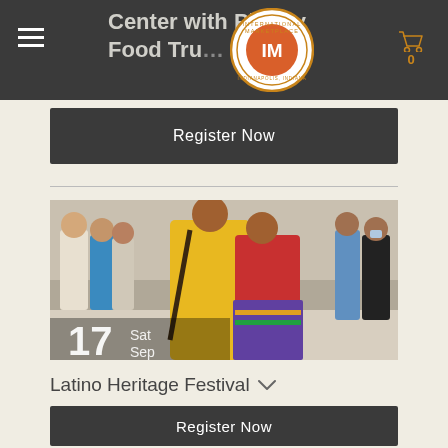Center with PI Indy Food Trucks
Register Now
[Figure (photo): People dancing or socializing at the Latino Heritage Festival event. A person in yellow shirt and a woman in red and colorful traditional clothing face each other in an embrace or dance. Other attendees visible in background. Date overlay shows '17 Sat Sep'.]
Latino Heritage Festival
Register Now